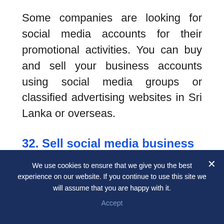Some companies are looking for social media accounts for their promotional activities. You can buy and sell your business accounts using social media groups or classified advertising websites in Sri Lanka or overseas.
32. Sell social media business pages
Same as above, businesses are looking for social media pages with an excellent fan
We use cookies to ensure that we give you the best experience on our website. If you continue to use this site we will assume that you are happy with it.
Accept